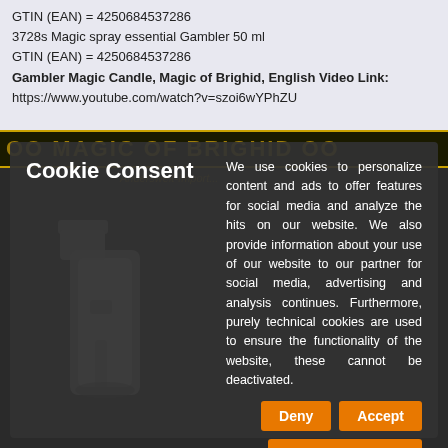GTIN (EAN) = 4250684537286
3728s Magic spray essential Gambler 50 ml
GTIN (EAN) = 4250684537286
Gambler Magic Candle, Magic of Brighid, English Video Link:
https://www.youtube.com/watch?v=szoi6wYPhZU
[Figure (screenshot): Cookie consent overlay on top of a dark product page showing Magic of Brighid banner and spray bottle image. The overlay contains a 'Cookie Consent' heading, descriptive text about cookie usage, and three buttons: Deny, Accept, and Detailed Information.]